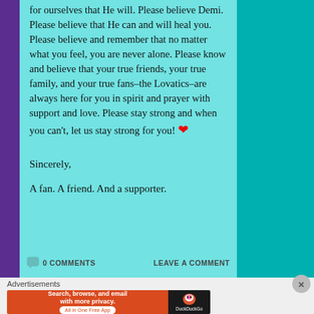for ourselves that He will. Please believe Demi. Please believe that He can and will heal you. Please believe and remember that no matter what you feel, you are never alone. Please know and believe that your true friends, your true family, and your true fans–the Lovatics–are always here for you in spirit and prayer with support and love. Please stay strong and when you can't, let us stay strong for you! ❤
Sincerely,
A fan. A friend. And a supporter.
0 COMMENTS   LEAVE A COMMENT
[Figure (screenshot): DuckDuckGo advertisement banner: orange section with text 'Search, browse, and email with more privacy. All in One Free App' and dark section with DuckDuckGo logo]